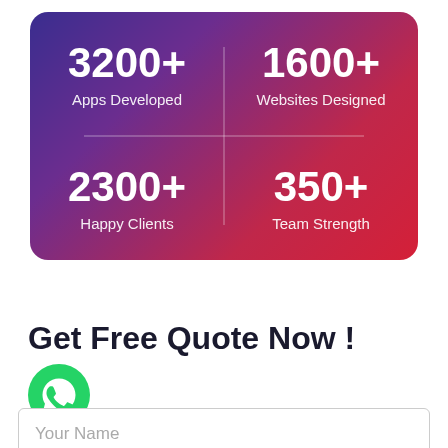[Figure (infographic): Stats card with gradient background (purple to red) showing four metrics in a 2x2 grid: 3200+ Apps Developed, 1600+ Websites Designed, 2300+ Happy Clients, 350+ Team Strength]
Get Free Quote Now !
[Figure (logo): WhatsApp icon - green circle with white phone/chat icon]
Your Name